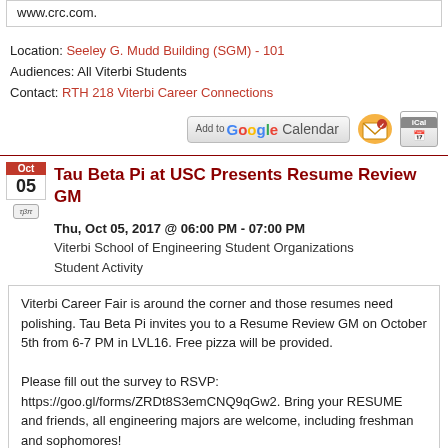www.crc.com.
Location: Seeley G. Mudd Building (SGM) - 101
Audiences: All Viterbi Students
Contact: RTH 218 Viterbi Career Connections
[Figure (other): Calendar buttons: Add to Google Calendar, envelope icon, iCal icon]
Tau Beta Pi at USC Presents Resume Review GM
[Figure (logo): Tau Beta Pi logo]
Thu, Oct 05, 2017 @ 06:00 PM - 07:00 PM
Viterbi School of Engineering Student Organizations
Student Activity
Viterbi Career Fair is around the corner and those resumes need polishing. Tau Beta Pi invites you to a Resume Review GM on October 5th from 6-7 PM in LVL16. Free pizza will be provided.

Please fill out the survey to RSVP: https://goo.gl/forms/ZRDt8S3emCNQ9qGw2. Bring your RESUME and friends, all engineering majors are welcome, including freshman and sophomores!